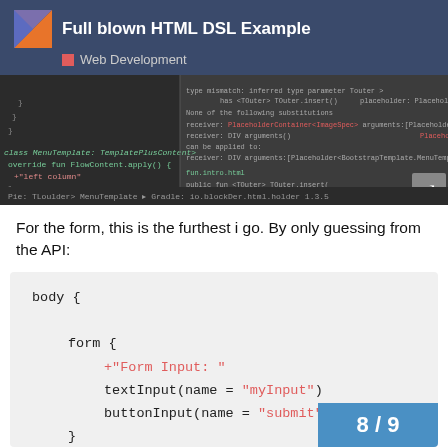Full blown HTML DSL Example
Web Development
[Figure (screenshot): IDE screenshot showing Kotlin HTML DSL code with autocomplete/type error overlay, dark theme editor]
For the form, this is the furthest i go. By only guessing from the API:
body {
    form {
        +"Form Input: "
        textInput(name = "myInput")
        buttonInput(name = "submit") { prin
    }
}
8 / 9